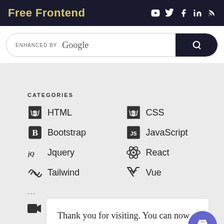Free Frontend
ENHANCED BY Google
CATEGORIES
HTML
CSS
Bootstrap
JavaScript
Jquery
React
Tailwind
Vue
Thank you for visiting. You can now buy me a coffee.